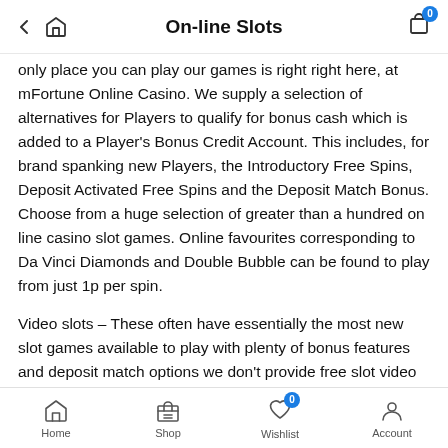On-line Slots
only place you can play our games is right right here, at mFortune Online Casino. We supply a selection of alternatives for Players to qualify for bonus cash which is added to a Player's Bonus Credit Account. This includes, for brand spanking new Players, the Introductory Free Spins, Deposit Activated Free Spins and the Deposit Match Bonus. Choose from a huge selection of greater than a hundred on line casino slot games. Online favourites corresponding to Da Vinci Diamonds and Double Bubble can be found to play from just 1p per spin.
Video slots – These often have essentially the most new slot games available to play with plenty of bonus features and deposit match options we don't provide free slot video games at current. If you're a seasoned on-line slots participant, then you'll no doubt have come across software program suppliers similar to Microgaming, NetEnt, Quickfire, and Playtech. For
Home  Shop  Wishlist 0  Account